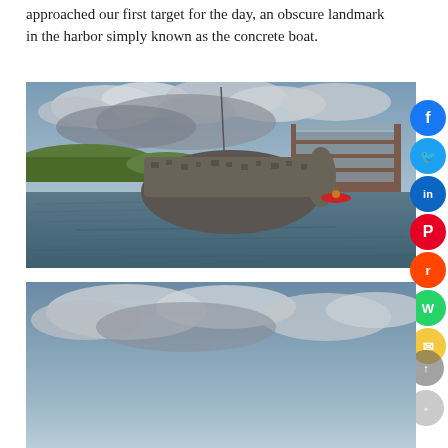approached our first target for the day, an obscure landmark in the harbor simply known as the concrete boat.
[Figure (photo): Photograph of a large concrete boat hull partially submerged in a harbor waterway, with cloudy sky, green marsh grass, and a multi-story brick and glass building visible in the background. A red kayak is visible near the structure.]
[Figure (photo): Partial photograph visible at the bottom of the page, showing a cloudy sky scene, appears to be another view from the kayak trip.]